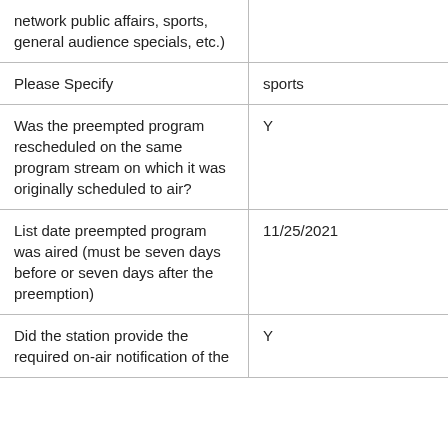| Question | Answer |
| --- | --- |
| network public affairs, sports, general audience specials, etc.) |  |
| Please Specify | sports |
| Was the preempted program rescheduled on the same program stream on which it was originally scheduled to air? | Y |
| List date preempted program was aired (must be seven days before or seven days after the preemption) | 11/25/2021 |
| Did the station provide the required on-air notification of the | Y |